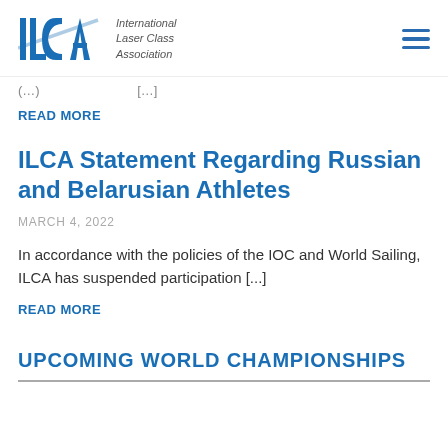ILCA International Laser Class Association
(…) […]
READ MORE
ILCA Statement Regarding Russian and Belarusian Athletes
MARCH 4, 2022
In accordance with the policies of the IOC and World Sailing, ILCA has suspended participation [...]
READ MORE
UPCOMING WORLD CHAMPIONSHIPS